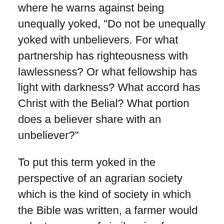where he warns against being unequally yoked, "Do not be unequally yoked with unbelievers. For what partnership has righteousness with lawlessness? Or what fellowship has light with darkness? What accord has Christ with the Belial? What portion does a believer share with an unbeliever?"
To put this term yoked in the perspective of an agrarian society which is the kind of society in which the Bible was written, a farmer would yoke two oxen of similar size for plowing. This way they could both carry a load equally and efficiently, without one working harder than the other. Imagine for a moment if an ox were yoked with one of my yorkies. How much would Roxy (our yorkie's name) contribute? Probably close to 0%!! Well, applying this illustration to a marriage, an unequally yoked couple will have different morals, values, priorities and friends. These